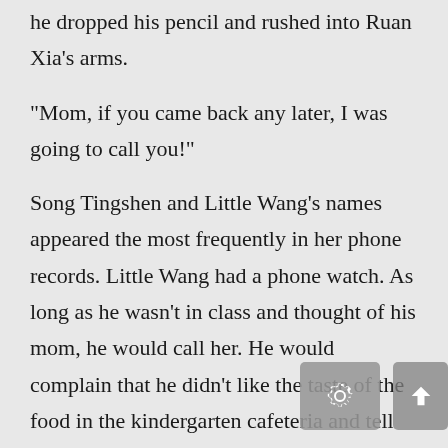he dropped his pencil and rushed into Ruan Xia's arms.
“Mom, if you came back any later, I was going to call you!”
Song Tingshen and Little Wang’s names appeared the most frequently in her phone records. Little Wang had a phone watch. As long as he wasn’t in class and thought of his mom, he would call her. He would complain that he didn’t like the taste of the food in the kindergarten cafeteria and tell her about the minor disputes between his buddies. In short, Little Wang was responsible for most of the calls in their small family.
He was a prodigal when it came to calls. He would call his parents in kindergarten and call his buddies when he got home. He was very busy with keeping close contact